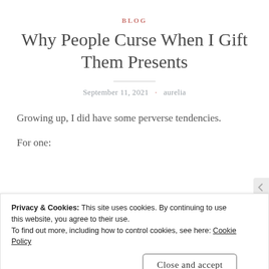BLOG
Why People Curse When I Gift Them Presents
September 11, 2021 · aurelia
Growing up, I did have some perverse tendencies.
For one:
Privacy & Cookies: This site uses cookies. By continuing to use this website, you agree to their use.
To find out more, including how to control cookies, see here: Cookie Policy
Close and accept